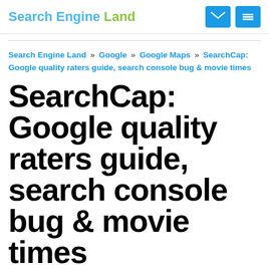Search Engine Land
Search Engine Land » Google » Google Maps » SearchCap: Google quality raters guide, search console bug & movie times
SearchCap: Google quality raters guide, search console bug & movie times
Below is what happened in search today,